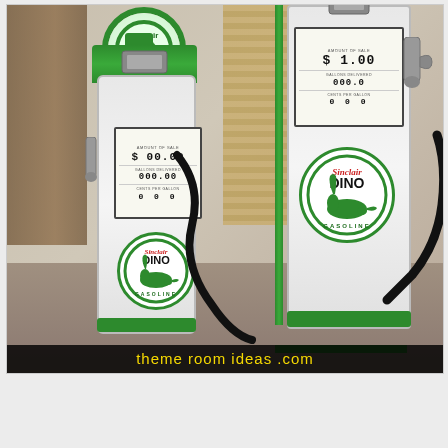[Figure (photo): Indoor photograph of two vintage Sinclair Dino Gasoline petrol pumps, white with green trim, each featuring a Sinclair Dino oval logo with a green dinosaur. The left pump is shorter and the right pump is taller. Both are displayed in what appears to be a home or decorative setting with wood blinds and a door visible in the background. A Sinclair Gasoline neon/backlit circular sign is visible at the top left. A watermark reading 'themeroomideas.com' appears in yellow text on a black bar at the bottom of the image.]